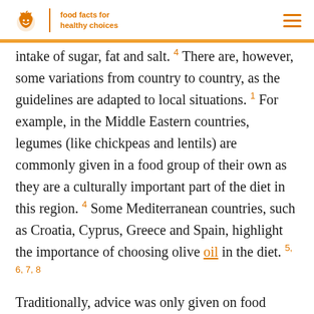eufic | food facts for healthy choices
intake of sugar, fat and salt. 4 There are, however, some variations from country to country, as the guidelines are adapted to local situations. 1 For example, in the Middle Eastern countries, legumes (like chickpeas and lentils) are commonly given in a food group of their own as they are a culturally important part of the diet in this region. 4 Some Mediterranean countries, such as Croatia, Cyprus, Greece and Spain, highlight the importance of choosing olive oil in the diet. 5, 6, 7, 8
Traditionally, advice was only given on food